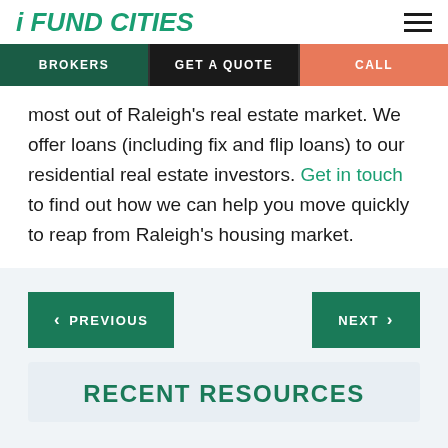i FUND CITIES
BROKERS | GET A QUOTE | CALL
most out of Raleigh's real estate market. We offer loans (including fix and flip loans) to our residential real estate investors. Get in touch to find out how we can help you move quickly to reap from Raleigh's housing market.
< PREVIOUS
NEXT >
RECENT RESOURCES